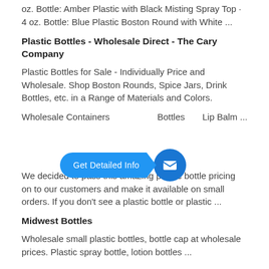oz. Bottle: Amber Plastic with Black Misting Spray Top · 4 oz. Bottle: Blue Plastic Boston Round with White ...
Plastic Bottles - Wholesale Direct - The Cary Company
Plastic Bottles for Sale - Individually Price and Wholesale. Shop Boston Rounds, Spice Jars, Drink Bottles, etc. in a Range of Materials and Colors.
Wholesale Containers ... Plastic Bottles ... Lip Balm ...
[Figure (other): Blue CTA button overlay with 'Get Detailed Info' text and email icon circle]
We decided to pass this amazing plastic bottle pricing on to our customers and make it available on small orders. If you don't see a plastic bottle or plastic ...
Midwest Bottles
Wholesale small plastic bottles, bottle cap at wholesale prices. Plastic spray bottle, lotion bottles ...